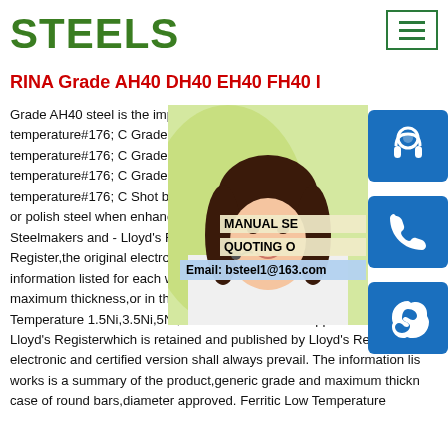STEELS
RINA Grade AH40 DH40 EH40 FH40 I
Grade AH40 steel is the impact force subje… temperature#176; C Grade DH40 steel imp… temperature#176; C Grade EH40 steel impa… temperature#176; C Grade FH40 steel impa… temperature#176; C Shot blasting service S… or polish steel when enhanced surface finis… Steelmakers and - Lloyd's Registerwhich is… Register,the original electronic and certified… information listed for each works is a summary of the product,generic grade and maximum thickness,or in the case of round bars,diameter approved. Ferritic Low Temperature 1.5Ni,3.5Ni,5Ni,9Ni 50 LTAH32 List 1 Approved Steelmak… Lloyd's Registerwhich is retained and published by Lloyd's Register,the… electronic and certified version shall always prevail. The information lis… works is a summary of the product,generic grade and maximum thickn… case of round bars,diameter approved. Ferritic Low Temperature
[Figure (photo): Customer service representative woman with headset, alongside blue contact icons (headset, phone, Skype) and contact info overlay showing MANUAL SE, QUOTING O, Email: bsteel1@163.com]